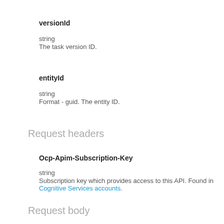versionId
string
The task version ID.
entityId
string
Format - guid. The entity ID.
Request headers
Ocp-Apim-Subscription-Key
string
Subscription key which provides access to this API. Found in Cognitive Services accounts.
Request body